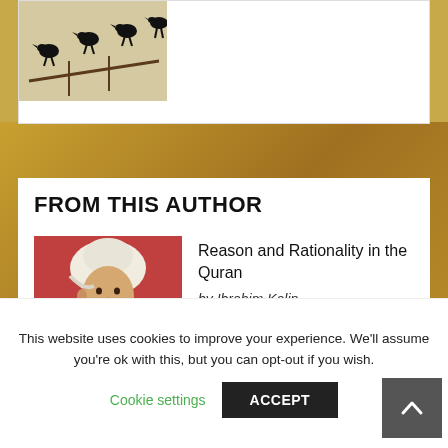[Figure (illustration): Partial view of an illustrated manuscript image showing black birds on branches, top of page]
FROM THIS AUTHOR
[Figure (illustration): Manuscript-style painting of a bearded man wearing a white turban against a red background]
Reason and Rationality in the Quran
by Ibrahim Kalin
[Figure (logo): Muslim logo in gold text on navy background with crescent moon symbol]
This website uses cookies to improve your experience. We'll assume you're ok with this, but you can opt-out if you wish.
Cookie settings
ACCEPT